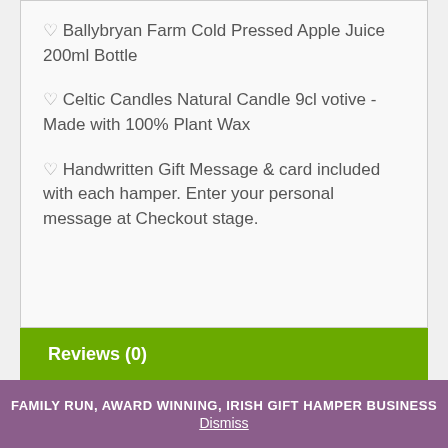♡ Ballybryan Farm Cold Pressed Apple Juice 200ml Bottle
♡ Celtic Candles Natural Candle 9cl votive - Made with 100% Plant Wax
♡ Handwritten Gift Message & card included with each hamper. Enter your personal message at Checkout stage.
Reviews (0)
FAMILY RUN, AWARD WINNING, IRISH GIFT HAMPER BUSINESS
Dismiss